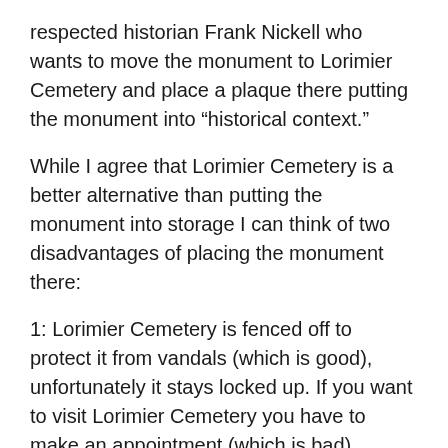respected historian Frank Nickell who wants to move the monument to Lorimier Cemetery and place a plaque there putting the monument into “historical context.”
While I agree that Lorimier Cemetery is a better alternative than putting the monument into storage I can think of two disadvantages of placing the monument there:
1: Lorimier Cemetery is fenced off to protect it from vandals (which is good), unfortunately it stays locked up. If you want to visit Lorimier Cemetery you have to make an appointment (which is bad).
2: The last thing needed if the monument is moved to Lorimier Cemetery is a plaque “putting into context”. We already know what the context is. The ladies of the